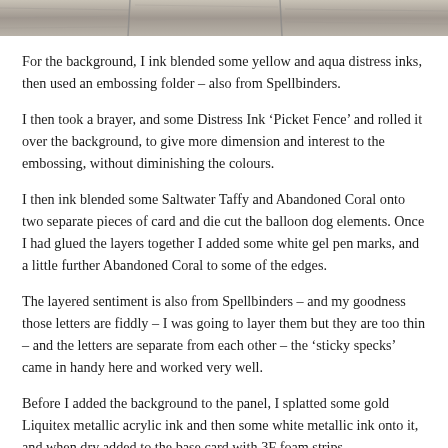[Figure (photo): Partial photo of a textured wood/fence background at the top of the page]
For the background, I ink blended some yellow and aqua distress inks, then used an embossing folder – also from Spellbinders.
I then took a brayer, and some Distress Ink 'Picket Fence' and rolled it over the background, to give more dimension and interest to the embossing, without diminishing the colours.
I then ink blended some Saltwater Taffy and Abandoned Coral onto two separate pieces of card and die cut the balloon dog elements. Once I had glued the layers together I added some white gel pen marks, and a little further Abandoned Coral to some of the edges.
The layered sentiment is also from Spellbinders – and my goodness those letters are fiddly – I was going to layer them but they are too thin – and the letters are separate from each other – the 'sticky specks' came in handy here and worked very well.
Before I added the background to the panel, I splatted some gold Liquitex metallic acrylic ink and then some white metallic ink onto it, and when dry added to the base card with 3F foam strips.